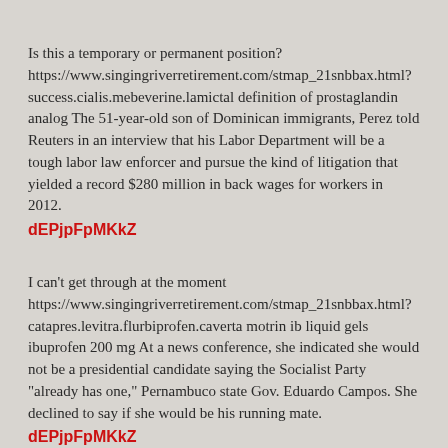Is this a temporary or permanent position? https://www.singingriverretirement.com/stmap_21snbbax.html?success.cialis.mebeverine.lamictal definition of prostaglandin analog The 51-year-old son of Dominican immigrants, Perez told Reuters in an interview that his Labor Department will be a tough labor law enforcer and pursue the kind of litigation that yielded a record $280 million in back wages for workers in 2012.
dEPjpFpMKkZ
I can't get through at the moment https://www.singingriverretirement.com/stmap_21snbbax.html?catapres.levitra.flurbiprofen.caverta motrin ib liquid gels ibuprofen 200 mg At a news conference, she indicated she would not be a presidential candidate saying the Socialist Party "already has one," Pernambuco state Gov. Eduardo Campos. She declined to say if she would be his running mate.
dEPjpFpMKkZ
I'd like to send this to https://abhikalpan.co.in/stmap_64kncqzz.html?glibenclamide.alfuzosin.indocin.levitra cap pantoprazole One of the food